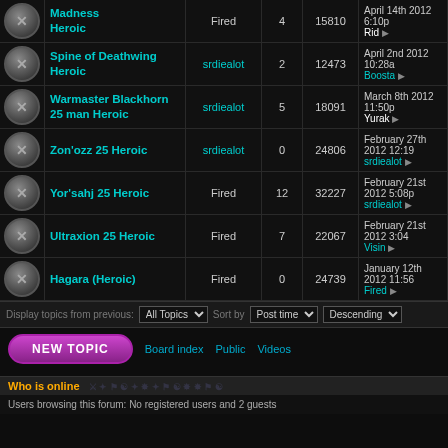|  | Topic | Author | Replies | Views | Last post |
| --- | --- | --- | --- | --- | --- |
| [icon] | Madness Heroic | Fired | 4 | 15810 | April 14th 2012 6:10pm Rid |
| [icon] | Spine of Deathwing Heroic | srdiealot | 2 | 12473 | April 2nd 2012 10:28am Boosta |
| [icon] | Warmaster Blackhorn 25 man Heroic | srdiealot | 5 | 18091 | March 8th 2012 11:50pm Yurak |
| [icon] | Zon'ozz 25 Heroic | srdiealot | 0 | 24806 | February 27th 2012 12:19 srdiealot |
| [icon] | Yor'sahj 25 Heroic | Fired | 12 | 32227 | February 21st 2012 5:08p srdiealot |
| [icon] | Ultraxion 25 Heroic | Fired | 7 | 22067 | February 21st 2012 3:04 Visin |
| [icon] | Hagara (Heroic) | Fired | 0 | 24739 | January 12th 2012 11:56 Fired |
Display topics from previous: All Topics  Sort by Post time  Descending
NEW TOPIC   Board index   Public   Videos
Who is online
Users browsing this forum: No registered users and 2 guests